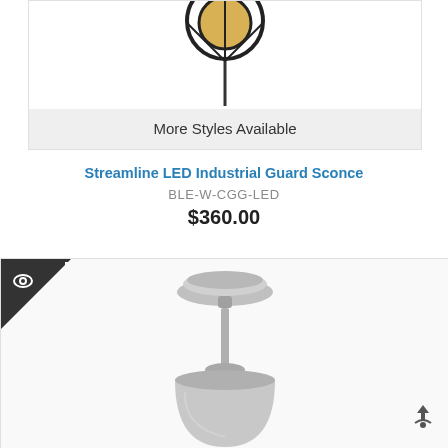[Figure (photo): Top portion of a wall sconce light fixture with circular cage guard in black/gold finish, partially cropped. Below it is a light gray bar reading 'More Styles Available'.]
More Styles Available
Streamline LED Industrial Guard Sconce
BLE-W-CGG-LED
$360.00
[Figure (photo): A galvanized/silver industrial pendant light fixture hanging from ceiling, shown from top with stem and shade visible. An eco/sustainability badge icon appears in the top-left corner. A share icon appears in the bottom-right.]